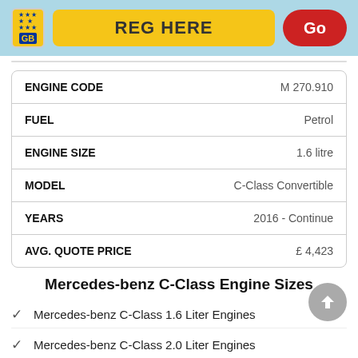[Figure (screenshot): UK vehicle registration plate input bar with yellow plate showing GB, a yellow input field labeled REG HERE, and a red Go button, on a light blue background]
| Field | Value |
| --- | --- |
| ENGINE CODE | M 270.910 |
| FUEL | Petrol |
| ENGINE SIZE | 1.6 litre |
| MODEL | C-Class Convertible |
| YEARS | 2016 - Continue |
| AVG. QUOTE PRICE | £ 4,423 |
Mercedes-benz C-Class Engine Sizes
Mercedes-benz C-Class 1.6 Liter Engines
Mercedes-benz C-Class 2.0 Liter Engines